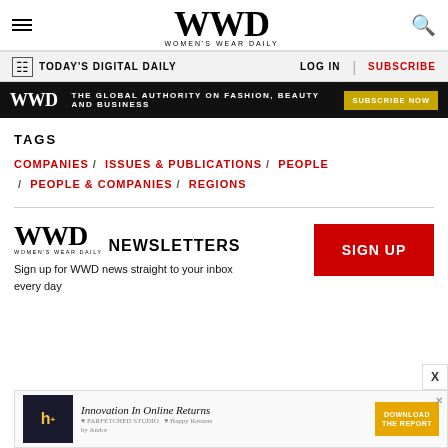WWD WOMEN'S WEAR DAILY
TODAY'S DIGITAL DAILY  LOG IN  SUBSCRIBE
[Figure (infographic): WWD ad banner: THE GLOBAL AUTHORITY ON FASHION, BEAUTY AND BUSINESS — SUBSCRIBE NOW]
TAGS
COMPANIES / ISSUES & PUBLICATIONS / PEOPLE / PEOPLE & COMPANIES / REGIONS
[Figure (logo): WWD Newsletters logo with SIGN UP button]
Sign up for WWD news straight to your inbox every day
[Figure (infographic): Bottom ad banner: Innovation In Online Returns — DOWNLOAD THE REPORT]